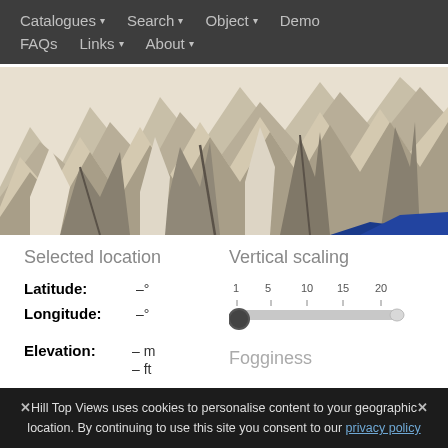Catalogues ▾  Search ▾  Object ▾  Demo  FAQs  Links ▾  About ▾
[Figure (photo): 3D rendered terrain view showing angular low-poly mountain landscape in beige/grey tones with a blue water body at the lower right]
Selected location
Vertical scaling
Latitude:  –°
Longitude:  –°
Elevation:  – m
– ft
[Figure (other): Horizontal slider control with tick marks labeled 1, 5, 10, 15, 20 for vertical scaling]
Fogginess
✕  Hill Top Views uses cookies to personalise content to your geographic location. By continuing to use this site you consent to our privacy policy  ✕